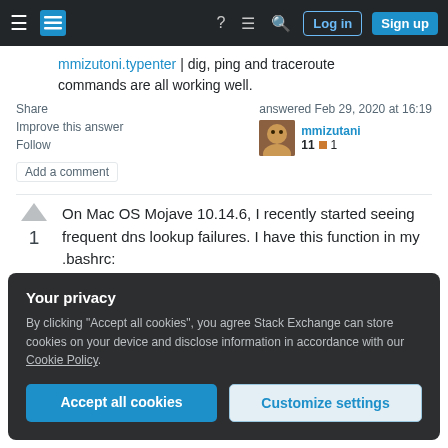Stack Exchange navigation bar with Log in and Sign up buttons
commands are all working well.
Share
Improve this answer
Follow
Add a comment
answered Feb 29, 2020 at 16:19
mmizutani
11 ● 1
On Mac OS Mojave 10.14.6, I recently started seeing frequent dns lookup failures. I have this function in my .bashrc:
Your privacy
By clicking "Accept all cookies", you agree Stack Exchange can store cookies on your device and disclose information in accordance with our Cookie Policy.
Accept all cookies
Customize settings